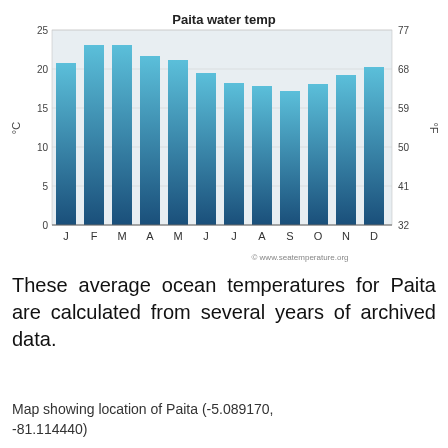[Figure (bar-chart): Paita water temp]
These average ocean temperatures for Paita are calculated from several years of archived data.
Map showing location of Paita (-5.089170, -81.114440)